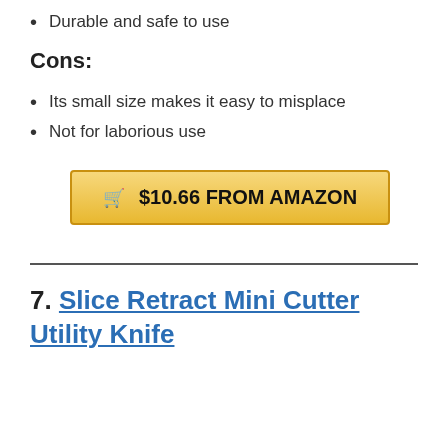Durable and safe to use
Cons:
Its small size makes it easy to misplace
Not for laborious use
$10.66 FROM AMAZON
7. Slice Retract Mini Cutter Utility Knife